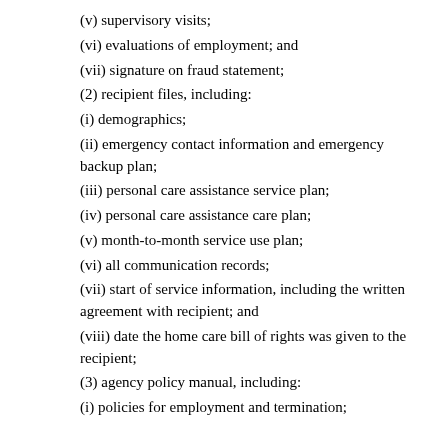(v) supervisory visits;
(vi) evaluations of employment; and
(vii) signature on fraud statement;
(2) recipient files, including:
(i) demographics;
(ii) emergency contact information and emergency backup plan;
(iii) personal care assistance service plan;
(iv) personal care assistance care plan;
(v) month-to-month service use plan;
(vi) all communication records;
(vii) start of service information, including the written agreement with recipient; and
(viii) date the home care bill of rights was given to the recipient;
(3) agency policy manual, including:
(i) policies for employment and termination;